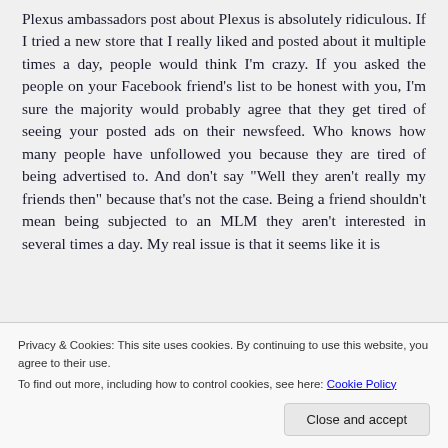Plexus ambassadors post about Plexus is absolutely ridiculous. If I tried a new store that I really liked and posted about it multiple times a day, people would think I'm crazy. If you asked the people on your Facebook friend's list to be honest with you, I'm sure the majority would probably agree that they get tired of seeing your posted ads on their newsfeed. Who knows how many people have unfollowed you because they are tired of being advertised to. And don't say "Well they aren't really my friends then" because that's not the case. Being a friend shouldn't mean being subjected to an MLM they aren't interested in several times a day. My real issue is that it seems like it is
Privacy & Cookies: This site uses cookies. By continuing to use this website, you agree to their use.
To find out more, including how to control cookies, see here: Cookie Policy